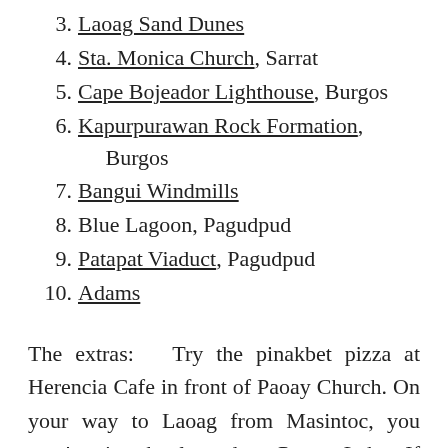3. Laoag Sand Dunes
4. Sta. Monica Church, Sarrat
5. Cape Bojeador Lighthouse, Burgos
6. Kapurpurawan Rock Formation, Burgos
7. Bangui Windmills
8. Blue Lagoon, Pagudpud
9. Patapat Viaduct, Pagudpud
10. Adams
The extras:   Try the pinakbet pizza at Herencia Cafe in front of Paoay Church. On your way to Laoag from Masintoc, you won't miss the legendary Paoay Lake. If you're a foodie, the no-frills